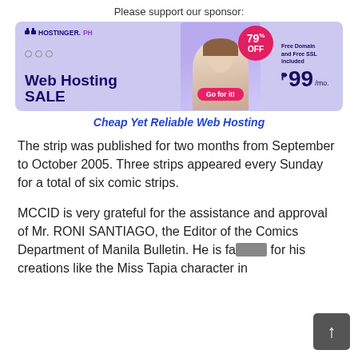Please support our sponsor:
[Figure (screenshot): Hostinger.ph web hosting sale advertisement banner. Shows 79% OFF badge, a woman with laptop, Web Hosting SALE text, Free Domain and Free SSL included, price ₱99/mo., Go for it! button.]
Cheap Yet Reliable Web Hosting
The strip was published for two months from September to October 2005. Three strips appeared every Sunday for a total of six comic strips.
MCCID is very grateful for the assistance and approval of Mr. RONI SANTIAGO, the Editor of the Comics Department of Manila Bulletin. He is famous for his creations like the Miss Tapia character in Bultic & Goofy and Emmy Sunday Llevar in